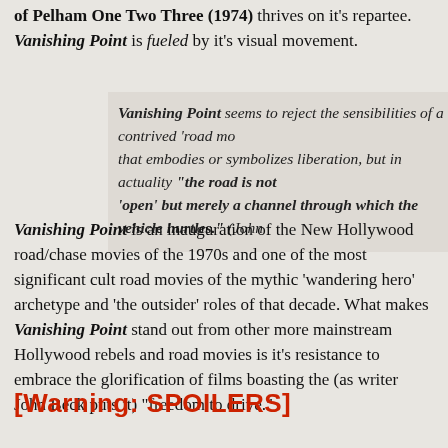of Pelham One Two Three (1974) thrives on it's repartee. Vanishing Point is fueled by it's visual movement.
Vanishing Point seems to reject the sensibilities of a contrived 'road mo... that embodies or symbolizes liberation, but in actuality "the road is not 'open' but merely a channel through which the vehicle hurtles." (John...
Vanishing Point is an inauguration of the New Hollywood road/chase movies of the 1970s and one of the most significant cult road movies of the mythic 'wandering hero' archetype and 'the outsider' roles of that decade. What makes Vanishing Point stand out from other more mainstream Hollywood rebels and road movies is it's resistance to embrace the glorification of films boasting the (as writer John Beck puts it) "freedom to drive."
[Warning: SPOILERS]
Continue reading
[Figure (infographic): Social sharing icons: Twitter (blue), Facebook (blue), Pinterest (red), Pocket (pink-red), Tumblr (dark blue), Print (grey), Mail (grey outline)]